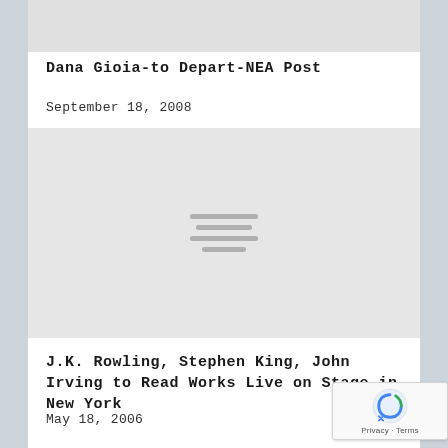[Figure (photo): Gray placeholder image strip at top of card]
Dana Gioia-to Depart-NEA Post
September 18, 2008
[Figure (photo): Gray placeholder image with three horizontal lines in center representing a loading/placeholder image]
J.K. Rowling, Stephen King, John Irving to Read Works Live on Stage in New York
May 18, 2006